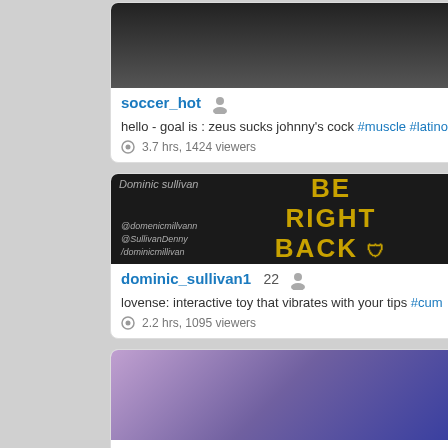[Figure (screenshot): Thumbnail image for soccer_hot stream showing dark background]
soccer_hot
hello - goal is : zeus sucks johnny's cock #muscle #latino
3.7 hrs, 1424 viewers
[Figure (screenshot): BE RIGHT BACK screen for dominic_sullivan1 with gold text on dark ornate background]
dominic_sullivan1  22
lovense: interactive toy that vibrates with your tips #cum
2.2 hrs, 1095 viewers
[Figure (screenshot): Thumbnail for sweety_boys showing person on bed in purple-lit room]
sweety_boys  19
hello guys, you wanna fuck this sweet boy? ;) - multi-goal : fuck
12.2 hrs, 511 viewers